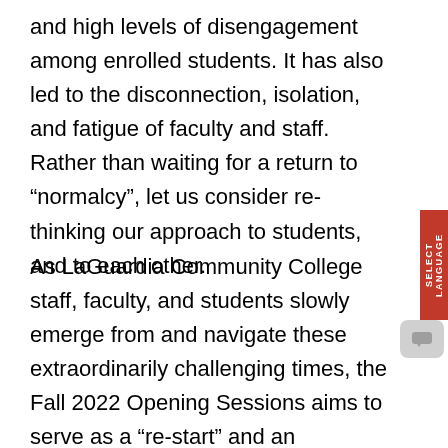and high levels of disengagement among enrolled students. It has also led to the disconnection, isolation, and fatigue of faculty and staff. Rather than waiting for a return to “normalcy”, let us consider re-thinking our approach to students, and to each other.
As LaGuardia Community College staff, faculty, and students slowly emerge from and navigate these extraordinarily challenging times, the Fall 2022 Opening Sessions aims to serve as a “re-start” and an opportunity to come together as a community to dialogue on how to develop a college-wide ethos of care and